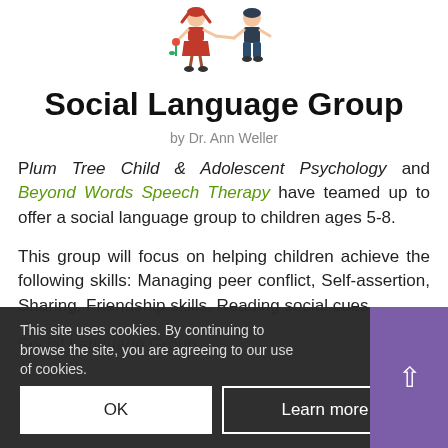[Figure (illustration): Cartoon illustration of two children figures at the top of the page]
Social Language Group
by Dr. Ann Weller
Plum Tree Child & Adolescent Psychology and Beyond Words Speech Therapy have teamed up to offer a social language group to children ages 5-8.
This group will focus on helping children achieve the following skills: Managing peer conflict, Self-assertion, Sharing, Friendship skills, Reading social cues.
Social Language Group...
This site uses cookies. By continuing to browse the site, you are agreeing to our use of cookies.